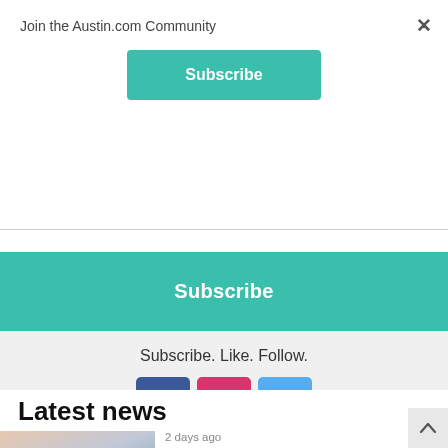Join the Austin.com Community
×
Subscribe
Subscribe
Subscribe. Like. Follow.
[Figure (infographic): Social media icons: Facebook (blue), Instagram (pink/red), Twitter (light blue)]
Latest news
2 days ago
[Figure (photo): News article thumbnail with text overlay: FREE EVENTS THIS WE[EK]]
Top Free Austin Events Happening This Week: August 26 through August